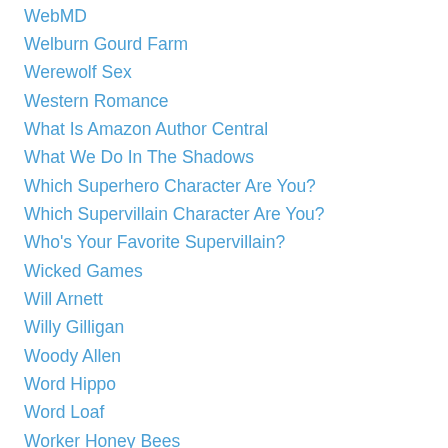WebMD
Welburn Gourd Farm
Werewolf Sex
Western Romance
What Is Amazon Author Central
What We Do In The Shadows
Which Superhero Character Are You?
Which Supervillain Character Are You?
Who's Your Favorite Supervillain?
Wicked Games
Will Arnett
Willy Gilligan
Woody Allen
Word Hippo
Word Loaf
Worker Honey Bees
World War Zayne
Worst Self-marketing
Wrinkles The Clown
Writer Beware